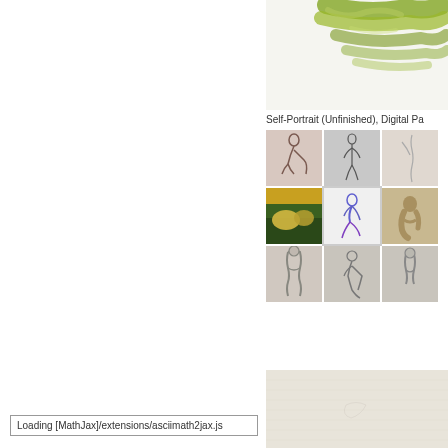[Figure (illustration): Partial view of a digital painting with green brush strokes on white/cream background, cropped at top]
Self-Portrait (Unfinished), Digital Pa
[Figure (illustration): 3x3 grid of figure drawing thumbnails: top row shows pencil/charcoal nude figure sketches; middle row shows a colorful reclining figure, a blue/purple figure on knees (selected/highlighted), and a bronze sculpture; bottom row shows three more charcoal figure drawings from behind]
[Figure (illustration): Large partially visible beige/cream textured paper or surface, possibly a drawing or painting background]
Loading [MathJax]/extensions/asciimath2jax.js